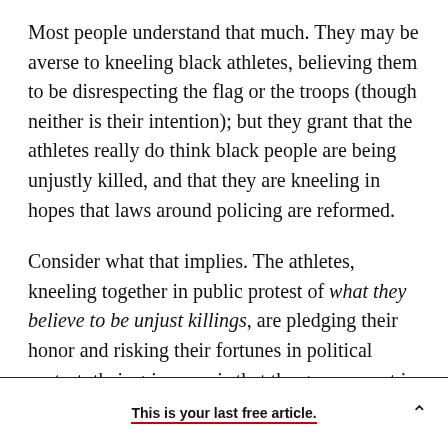Most people understand that much. They may be averse to kneeling black athletes, believing them to be disrespecting the flag or the troops (though neither is their intention); but they grant that the athletes really do think black people are being unjustly killed, and that they are kneeling in hopes that laws around policing are reformed.
Consider what that implies. The athletes, kneeling together in public protest of what they believe to be unjust killings, are pledging their honor and risking their fortunes in political protest; their grievance is that the government is failing to secure the rights of
This is your last free article.